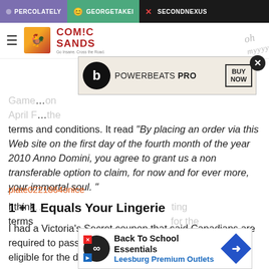PERCOLATELY | GEORGETAKEI | SECONDNEXUS
[Figure (screenshot): Comic Sands website header with hamburger menu, rooster logo, and site name]
[Figure (screenshot): Powerbeats Pro advertisement banner with Beats logo and BUY NOW box]
Game... on April F... the terms and conditions. It read 'By placing an order via this Web site on the first day of the fourth month of the year 2010 Anno Domini, you agree to grant us a non transferable option to claim, for now and for ever more, your immortal soul. '
plate0221864onice
1 + 1 Equals Your Lingerie
I had a Victoria's Secret coupon that said Canadians are required to pass a math question or test in order to be eligible for the discount.
[Figure (screenshot): Back To School Essentials - Leesburg Premium Outlets advertisement banner]
I think... ting terms... for the